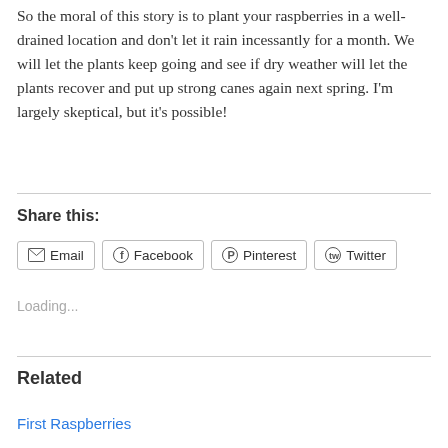So the moral of this story is to plant your raspberries in a well-drained location and don't let it rain incessantly for a month. We will let the plants keep going and see if dry weather will let the plants recover and put up strong canes again next spring. I'm largely skeptical, but it's possible!
Share this:
Email   Facebook   Pinterest   Twitter
Loading...
Related
First Raspberries